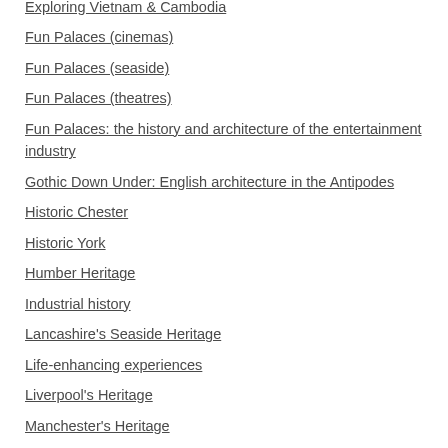Exploring Vietnam & Cambodia
Fun Palaces (cinemas)
Fun Palaces (seaside)
Fun Palaces (theatres)
Fun Palaces: the history and architecture of the entertainment industry
Gothic Down Under: English architecture in the Antipodes
Historic Chester
Historic York
Humber Heritage
Industrial history
Lancashire's Seaside Heritage
Life-enhancing experiences
Liverpool's Heritage
Manchester's Heritage
Manx Heritage
Niagara Falls Stories
Norfolk's Seaside Heritage
Nottingham's Heritage